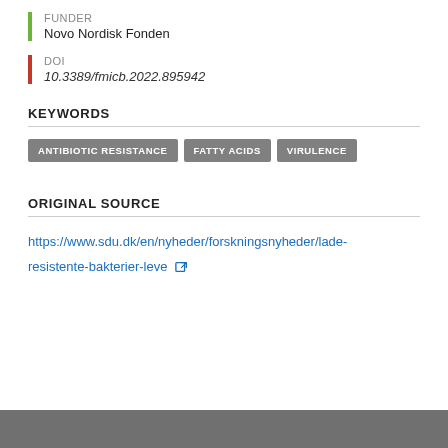FUNDER
Novo Nordisk Fonden
DOI
10.3389/fmicb.2022.895942
KEYWORDS
ANTIBIOTIC RESISTANCE
FATTY ACIDS
VIRULENCE
ORIGINAL SOURCE
https://www.sdu.dk/en/nyheder/forskningsnyheder/lade-resistente-bakterier-leve